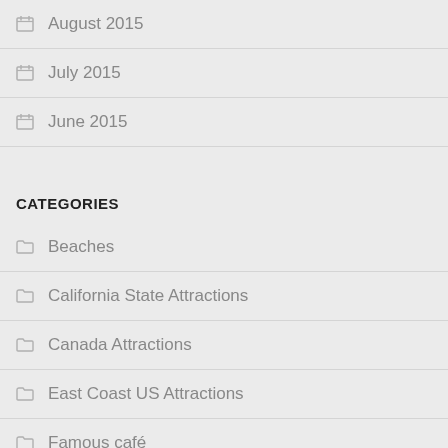August 2015
July 2015
June 2015
CATEGORIES
Beaches
California State Attractions
Canada Attractions
East Coast US Attractions
Famous café